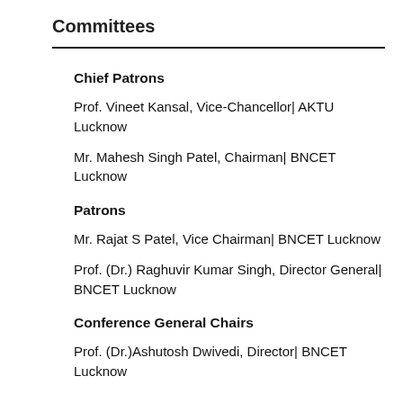Committees
Chief Patrons
Prof. Vineet Kansal, Vice-Chancellor| AKTU Lucknow
Mr. Mahesh Singh Patel, Chairman| BNCET Lucknow
Patrons
Mr. Rajat S Patel, Vice Chairman| BNCET Lucknow
Prof. (Dr.) Raghuvir Kumar Singh, Director General| BNCET Lucknow
Conference General Chairs
Prof. (Dr.)Ashutosh Dwivedi, Director| BNCET Lucknow